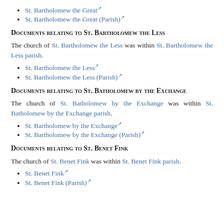St. Bartholomew the Great [external link]
St. Bartholomew the Great (Parish) [external link]
Documents relating to St. Bartholomew the Less
The church of St. Bartholomew the Less was within St. Bartholomew the Less parish.
St. Bartholomew the Less [external link]
St. Bartholomew the Less (Parish) [external link]
Documents relating to St. Batholomew by the Exchange
The church of St. Batholomew by the Exchange was within St. Batholomew by the Exchange parish.
St. Bartholomew by the Exchange [external link]
St. Bartholomew by the Exchange (Parish) [external link]
Documents relating to St. Benet Fink
The church of St. Benet Fink was within St. Benet Fink parish.
St. Benet Fink [external link]
St. Benet Fink (Parish) [external link]